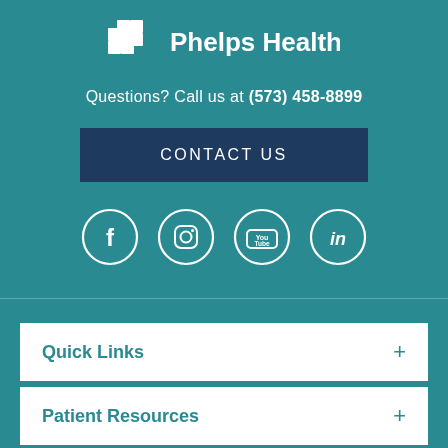[Figure (logo): Phelps Health logo with cross/plus icon and white text]
Questions? Call us at (573) 458-8899
CONTACT US
[Figure (infographic): Social media icons: Facebook, Instagram, YouTube, LinkedIn — white circle outlines on teal background]
Quick Links
Patient Resources